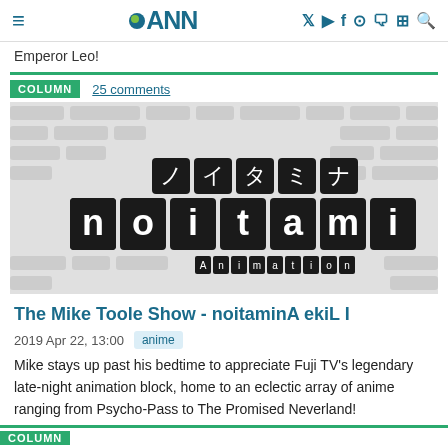≡  ●ANN  🐦 ▶ f 📷 💬 🔓 🔍
Emperor Leo!
COLUMN   25 comments
[Figure (logo): noitaminA Animation logo — black tiles with white letters spelling 'noitaminA', with Japanese katakana characters above and 'Animation' in small text below]
The Mike Toole Show - noitaminA ekiL I
2019 Apr 22, 13:00   anime
Mike stays up past his bedtime to appreciate Fuji TV's legendary late-night animation block, home to an eclectic array of anime ranging from Psycho-Pass to The Promised Neverland!
COLUMN